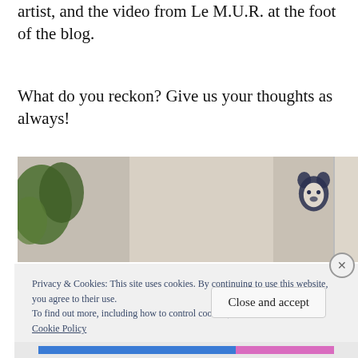artist, and the video from Le M.U.R. at the foot of the blog.
What do you reckon? Give us your thoughts as always!
[Figure (photo): A photo of a stone or concrete wall with greenery on the left and a dark illustrated/graffiti logo stamp in the upper right corner, with part of a building visible at the far right edge.]
Privacy & Cookies: This site uses cookies. By continuing to use this website, you agree to their use.
To find out more, including how to control cookies, see here:
Cookie Policy
Close and accept